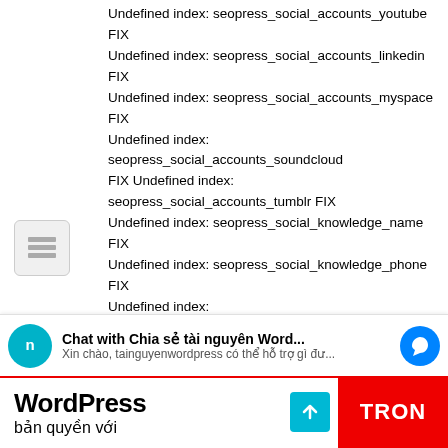Undefined index: seopress_social_accounts_youtube FIX Undefined index: seopress_social_accounts_linkedin FIX Undefined index: seopress_social_accounts_myspace FIX Undefined index: seopress_social_accounts_soundcloud FIX Undefined index: seopress_social_accounts_tumblr FIX Undefined index: seopress_social_knowledge_name FIX Undefined index: seopress_social_knowledge_phone FIX Undefined index: seopress_social_facebook_admin_id FIX Undefined index: seopress_social_facebook_app_id FIX Undefined index: seopress_social_knowledge_img FIX Undefined index: seopress_social_facebook_img FIX Undefined index: seopress_social_twitter_card_img FIX Undefined index: description FIX Undefined index: description (2) FIX Undefined index: seopress_titles_archives_author_desc FIX Undefined index: seopress_titles_archives_date_desc FIX Undefined index:
Chat with Chia sẻ tài nguyên Word... Xin chào, tainguyenwordpress có thể hỗ trợ gì đư...
WordPress bản quyền với TRON